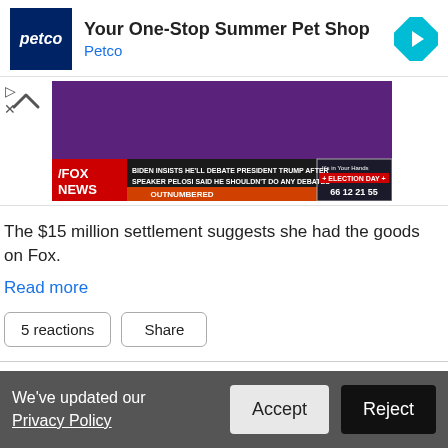[Figure (other): Petco advertisement banner: Petco logo (dark blue square with 'petco' text), headline 'Your One-Stop Summer Pet Shop', subtext 'Petco', and a cyan navigation diamond icon on the right. Play and X ad controls on left.]
[Figure (screenshot): Fox News screenshot showing chyron: 'BIDEN INSISTS HE'LL DEBATE PRESIDENT TRUMP AFTER SPEAKER PELOSI SAID HE SHOULDN'T DO ANY DEBATES' with 'OUTNUMBERED' lower third and election day countdown: 66 12 21 55]
The $15 million settlement suggests she had the goods on Fox.
Read more
5 reactions  Share
← Previous 1 2 3 4 5 6 7 8 9 10 11 … 1226 1227 Next →
We've updated our Privacy Policy
Accept
Reject